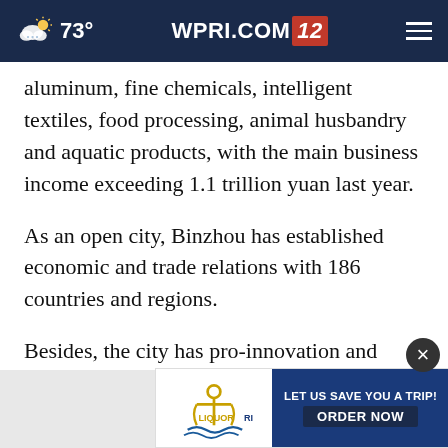73° WPRI.COM 12
aluminum, fine chemicals, intelligent textiles, food processing, animal husbandry and aquatic products, with the main business income exceeding 1.1 trillion yuan last year.
As an open city, Binzhou has established economic and trade relations with 186 countries and regions.
Besides, the city has pro-innovation and creation climate, comfortable living envir…
[Figure (other): LiquorRI advertisement banner: anchor logo with text 'LET US SAVE YOU A TRIP! ORDER NOW']